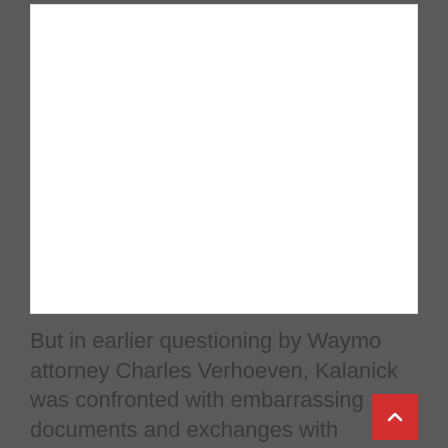[Figure (other): White blank image area, content not visible]
But in earlier questioning by Waymo attorney Charles Verhoeven, Kalanick was confronted with embarrassing documents and exchanges with Levandowski.